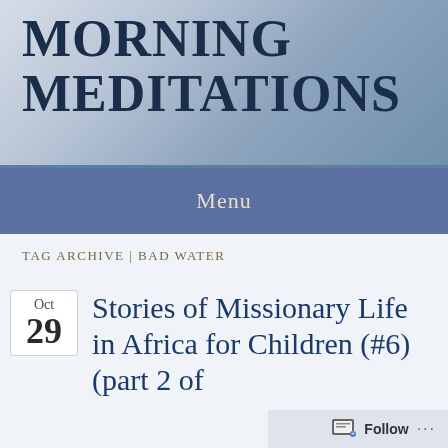MORNING MEDITATIONS
Menu
TAG ARCHIVE | BAD WATER
Oct
29
Stories of Missionary Life in Africa for Children (#6) (part 2 of